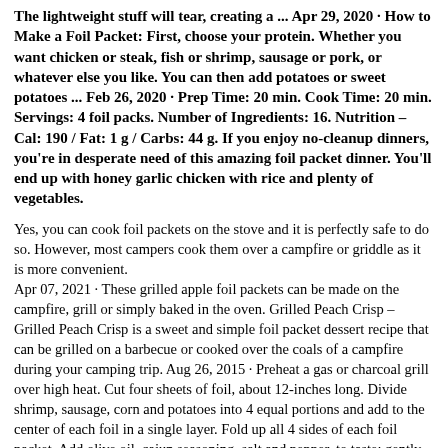The lightweight stuff will tear, creating a ... Apr 29, 2020 · How to Make a Foil Packet: First, choose your protein. Whether you want chicken or steak, fish or shrimp, sausage or pork, or whatever else you like. You can then add potatoes or sweet potatoes ... Feb 26, 2020 · Prep Time: 20 min. Cook Time: 20 min. Servings: 4 foil packs. Number of Ingredients: 16. Nutrition – Cal: 190 / Fat: 1 g / Carbs: 44 g. If you enjoy no-cleanup dinners, you're in desperate need of this amazing foil packet dinner. You'll end up with honey garlic chicken with rice and plenty of vegetables.
Yes, you can cook foil packets on the stove and it is perfectly safe to do so. However, most campers cook them over a campfire or griddle as it is more convenient.
Apr 07, 2021 · These grilled apple foil packets can be made on the campfire, grill or simply baked in the oven. Grilled Peach Crisp – Grilled Peach Crisp is a sweet and simple foil packet dessert recipe that can be grilled on a barbecue or cooked over the coals of a campfire during your camping trip. Aug 26, 2015 · Preheat a gas or charcoal grill over high heat. Cut four sheets of foil, about 12-inches long. Divide shrimp, sausage, corn and potatoes into 4 equal portions and add to the center of each foil in a single layer. Fold up all 4 sides of each foil packet. Add olive oil, cajun seasoning, salt and pepper, to taste; gently toss to combine. . oc5
×